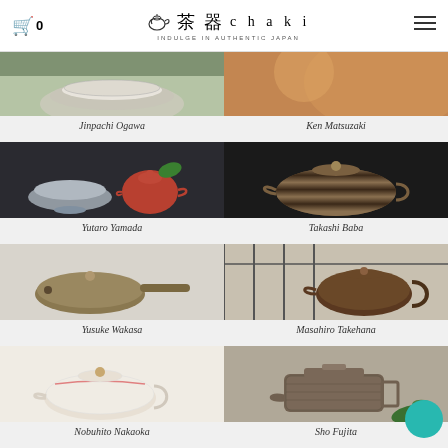0  茶器 chaki  INDULGE IN AUTHENTIC JAPAN
[Figure (photo): Partial view of a ceramic bowl by Jinpachi Ogawa, light grey glaze on wooden surface]
Jinpachi Ogawa
[Figure (photo): Partial view of a ceramic piece by Ken Matsuzaki, warm orange tones]
Ken Matsuzaki
[Figure (photo): Ceramic bowl and small red teapot on dark background by Yutaro Yamada]
Yutaro Yamada
[Figure (photo): Striped brown teapot on dark background by Takashi Baba]
Takashi Baba
[Figure (photo): Flat round teapot with long handle on grey background by Yusuke Wakasa]
Yusuke Wakasa
[Figure (photo): Dark bronze teapot with round handle near iron fence by Masahiro Takehana]
Masahiro Takehana
[Figure (photo): White ceramic teapot with pink accents by Nobuhito Nakaoka]
Nobuhito Nakaoka
[Figure (photo): Rustic dark teapot with green herbs by Sho Fujita]
Sho Fujita